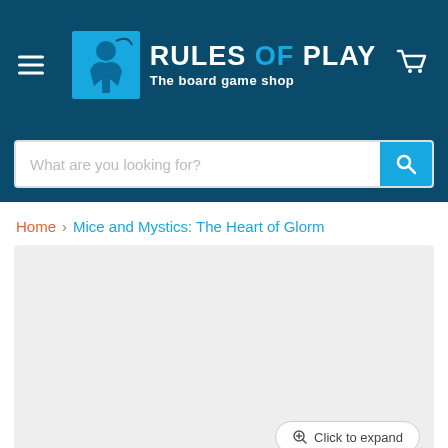[Figure (logo): Rules of Play - The board game shop logo with hamburger menu and cart icon in dark teal header]
What are you looking for?
Home > Mice and Mystics: The Heart of Glorm
[Figure (photo): Product image placeholder (light grey area) with 'Click to expand' button]